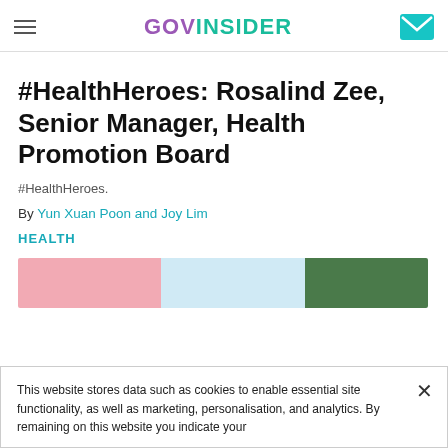GovInsider
#HealthHeroes: Rosalind Zee, Senior Manager, Health Promotion Board
#HealthHeroes.
By Yun Xuan Poon and Joy Lim
HEALTH
[Figure (photo): Partial banner image with pink, light blue, and green sections]
This website stores data such as cookies to enable essential site functionality, as well as marketing, personalisation, and analytics. By remaining on this website you indicate your